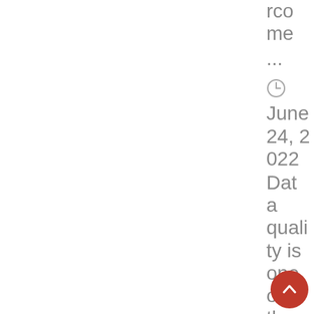rcome...
June 24, 2022 Data quality is one of the most important
[Figure (other): Red circular scroll-to-top button with upward chevron arrow]